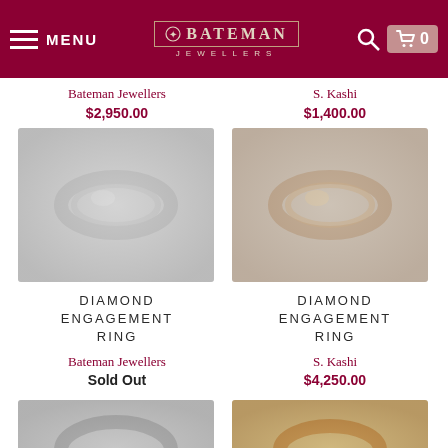MENU | BATEMAN JEWELLERS | Search | Cart 0
Bateman Jewellers
$2,950.00
S. Kashi
$1,400.00
[Figure (photo): Diamond engagement ring, silver/white gold, blurred product photo on gray background]
[Figure (photo): Diamond engagement ring, rose/yellow gold tones, blurred product photo on gray background]
DIAMOND ENGAGEMENT RING
Bateman Jewellers
Sold Out
DIAMOND ENGAGEMENT RING
S. Kashi
$4,250.00
[Figure (photo): Diamond engagement ring, silver/white gold, blurred product photo on gray background, partially visible]
[Figure (photo): Diamond engagement ring, yellow gold, blurred product photo, partially visible]